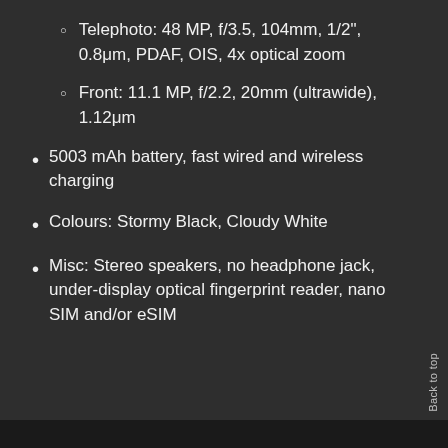Telephoto: 48 MP, f/3.5, 104mm, 1/2", 0.8μm, PDAF, OIS, 4x optical zoom
Front: 11.1 MP, f/2.2, 20mm (ultrawide), 1.12μm
5003 mAh battery, fast wired and wireless charging
Colours: Stormy Black, Cloudy White
Misc: Stereo speakers, no headphone jack, under-display optical fingerprint reader, nanoSIM and/or eSIM